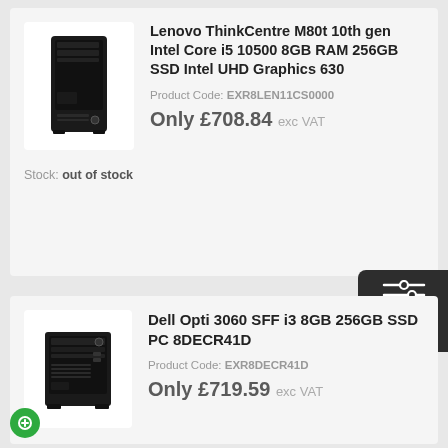[Figure (photo): Black Lenovo ThinkCentre M80t desktop tower PC]
Lenovo ThinkCentre M80t 10th gen Intel Core i5 10500 8GB RAM 256GB SSD Intel UHD Graphics 630
Product Code: EXR8LEN11CS0000
Only £708.84 exc VAT
Stock: out of stock
[Figure (photo): Black Dell Optiplex 3060 SFF desktop PC]
Dell Opti 3060 SFF i3 8GB 256GB SSD PC 8DECR41D
Product Code: EXR8DECR41D
Only £719.59 exc VAT